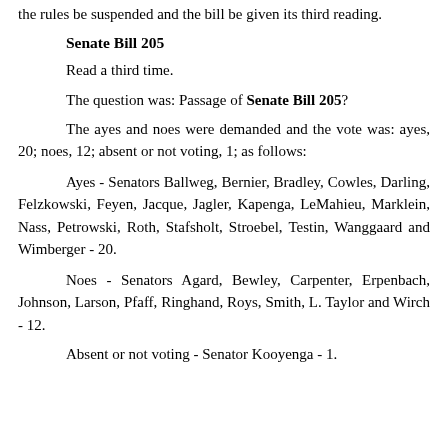the rules be suspended and the bill be given its third reading.
Senate Bill 205
Read a third time.
The question was: Passage of Senate Bill 205?
The ayes and noes were demanded and the vote was: ayes, 20; noes, 12; absent or not voting, 1; as follows:
Ayes - Senators Ballweg, Bernier, Bradley, Cowles, Darling, Felzkowski, Feyen, Jacque, Jagler, Kapenga, LeMahieu, Marklein, Nass, Petrowski, Roth, Stafsholt, Stroebel, Testin, Wanggaard and Wimberger - 20.
Noes - Senators Agard, Bewley, Carpenter, Erpenbach, Johnson, Larson, Pfaff, Ringhand, Roys, Smith, L. Taylor and Wirch - 12.
Absent or not voting - Senator Kooyenga - 1.